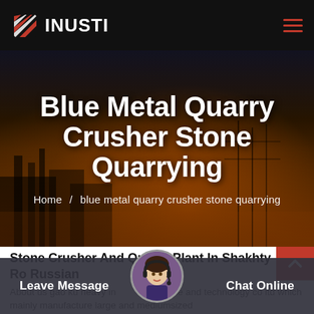INUSTI
Blue Metal Quarry Crusher Stone Quarrying
Home / blue metal quarry crusher stone quarrying
Stone Crusher And Quarry Plant In Shakhty Ro Russian
About us gao ku heavy industry science and technology co ltd which mainly manufacture large and mediumsized